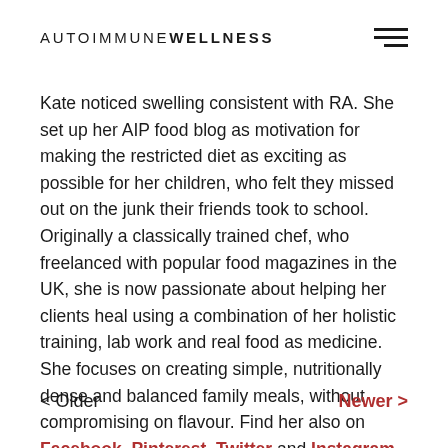AUTOIMMUNE WELLNESS
Kate noticed swelling consistent with RA. She set up her AIP food blog as motivation for making the restricted diet as exciting as possible for her children, who felt they missed out on the junk their friends took to school. Originally a classically trained chef, who freelanced with popular food magazines in the UK, she is now passionate about helping her clients heal using a combination of her holistic training, lab work and real food as medicine. She focuses on creating simple, nutritionally dense and balanced family meals, without compromising on flavour. Find her also on Facebook, Pinterest, Twitter and Instagram.
< Older   Newer >